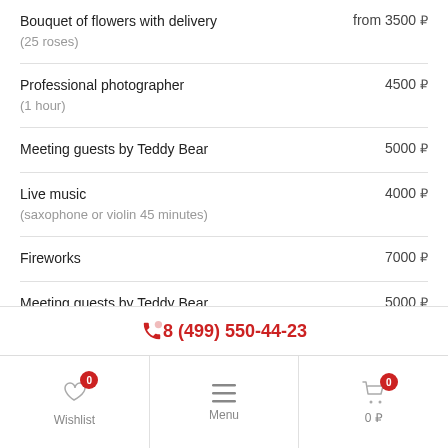Bouquet of flowers with delivery (25 roses) — from 3500 ₽
Professional photographer (1 hour) — 4500 ₽
Meeting guests by Teddy Bear — 5000 ₽
Live music (saxophone or violin 45 minutes) — 4000 ₽
Fireworks — 7000 ₽
Meeting guests by Teddy Bear — 5000 ₽
Meeting guests with a Huge White Bear — from 6990 ₽
8 (499) 550-44-23
Wishlist 0 | Menu | 0 ₽